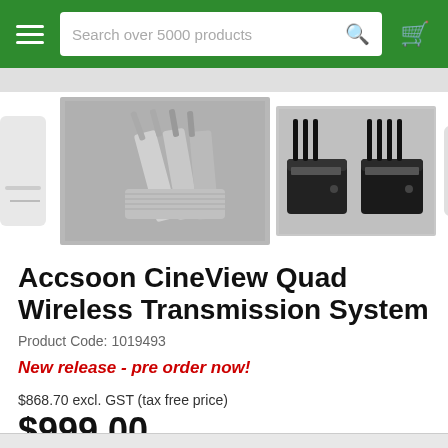Search over 5000 products
[Figure (photo): Product carousel showing Accsoon CineView Quad Wireless Transmission System images: silver accessories, dual black wireless transmitter/receiver units with antennas, and a partial view of another device]
Accsoon CineView Quad Wireless Transmission System
Product Code: 1019493
New release - pre order now!
$868.70 excl. GST (tax free price)
$999.00